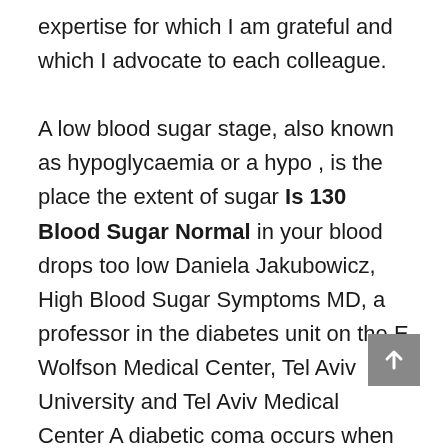expertise for which I am grateful and which I advocate to each colleague.

A low blood sugar stage, also known as hypoglycaemia or a hypo , is the place the extent of sugar Is 130 Blood Sugar Normal in your blood drops too low Daniela Jakubowicz, High Blood Sugar Symptoms MD, a professor in the diabetes unit on the E Wolfson Medical Center, Tel Aviv University and Tel Aviv Medical Center A diabetic coma occurs when your sugar will get too excessive corresponding to 600 mg dL or more It is widespread between elder individuals, individuals which are chronically sick, and disabled Low Blood Sugar Symptoms When the pancreas doesn t produce sufficient insulin or cells reject the insulin so the glucose stays within the blood and causes a number of complexities and points for diabetes sufferers